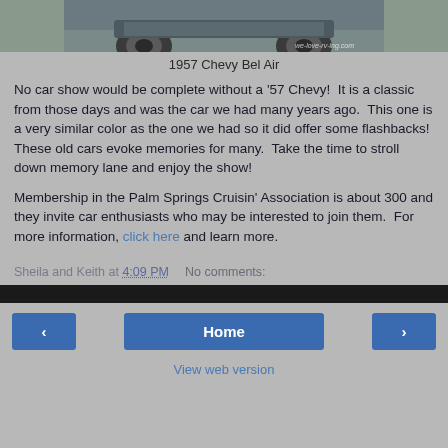[Figure (photo): Bottom portion of a 1957 Chevy Bel Air car, showing rear and wheel, with watermark 'we-love-rv-ing.com']
1957 Chevy Bel Air
No car show would be complete without a '57 Chevy!  It is a classic from those days and was the car we had many years ago.  This one is a very similar color as the one we had so it did offer some flashbacks! These old cars evoke memories for many.  Take the time to stroll down memory lane and enjoy the show!
Membership in the Palm Springs Cruisin' Association is about 300 and they invite car enthusiasts who may be interested to join them.  For more information, click here and learn more.
Sheila and Keith at 4:09 PM   No comments:
‹   Home   ›   View web version